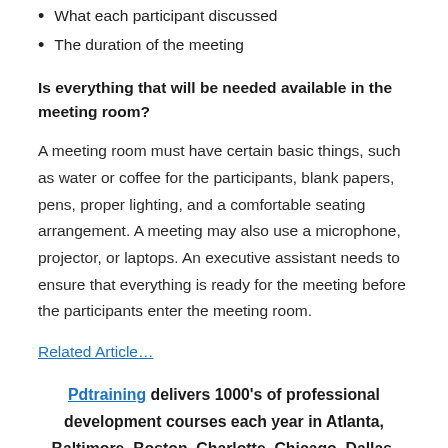What each participant discussed
The duration of the meeting
Is everything that will be needed available in the meeting room?
A meeting room must have certain basic things, such as water or coffee for the participants, blank papers, pens, proper lighting, and a comfortable seating arrangement. A meeting may also use a microphone, projector, or laptops. An executive assistant needs to ensure that everything is ready for the meeting before the participants enter the meeting room.
Related Article…
Pdtraining delivers 1000's of professional development courses each year in Atlanta, Baltimore, Boston, Charlotte, Chicago, Dallas, Los Angeles, Manhattan, Miami, Orlando,